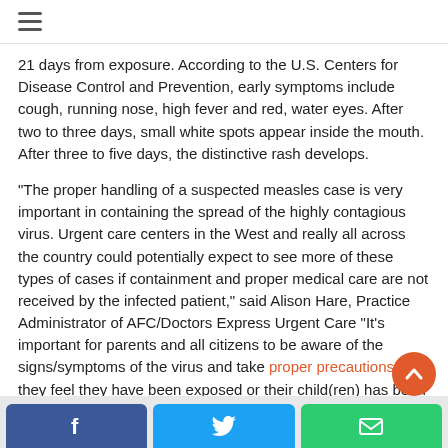≡ (hamburger menu)
21 days from exposure. According to the U.S. Centers for Disease Control and Prevention, early symptoms include cough, running nose, high fever and red, water eyes. After two to three days, small white spots appear inside the mouth. After three to five days, the distinctive rash develops.
"The proper handling of a suspected measles case is very important in containing the spread of the highly contagious virus. Urgent care centers in the West and really all across the country could potentially expect to see more of these types of cases if containment and proper medical care are not received by the infected patient," said Alison Hare, Practice Administrator of AFC/Doctors Express Urgent Care "It's important for parents and all citizens to be aware of the signs/symptoms of the virus and take proper precautions if they feel they have been exposed or their child(ren) has been exposed to the virus."
Social share buttons: Facebook, Twitter, Email